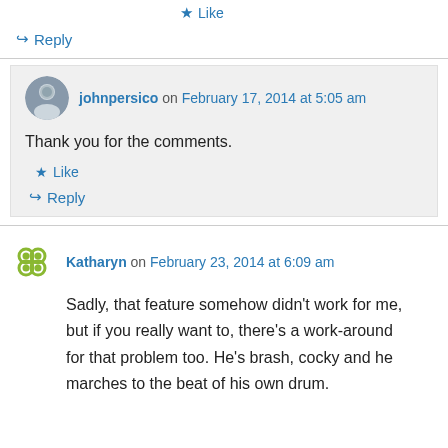★ Like
↳ Reply
johnpersico on February 17, 2014 at 5:05 am
Thank you for the comments.
★ Like
↳ Reply
Katharyn on February 23, 2014 at 6:09 am
Sadly, that feature somehow didn't work for me, but if you really want to, there's a work-around for that problem too. He's brash, cocky and he marches to the beat of his own drum.